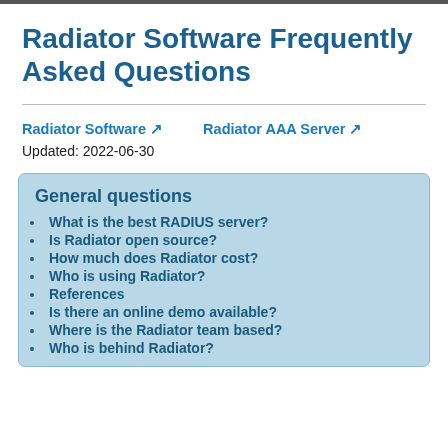Radiator Software Frequently Asked Questions
Radiator Software ↗   Radiator AAA Server ↗
Updated: 2022-06-30
General questions
What is the best RADIUS server?
Is Radiator open source?
How much does Radiator cost?
Who is using Radiator?
References
Is there an online demo available?
Where is the Radiator team based?
Who is behind Radiator?